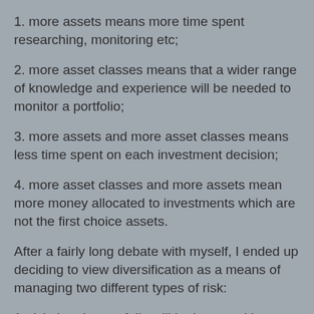1. more assets means more time spent researching, monitoring etc;
2. more asset classes means that a wider range of knowledge and experience will be needed to monitor a portfolio;
3. more assets and more asset classes means less time spent on each investment decision;
4. more asset classes and more assets mean more money allocated to investments which are not the first choice assets.
After a fairly long debate with myself, I ended up deciding to view diversification as a means of managing two different types of risk:
1. risk that the portfolio will be impacted by negative correlated returns (which is what happened from late 2007 to late 2008) - effectively that all of my asset values move